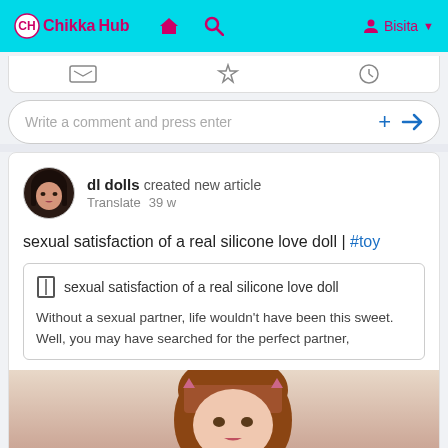ChikkaHub
[Figure (screenshot): Comment input bar with Write a comment and press enter placeholder, plus and send icons]
dl dolls created new article
Translate  39 w
sexual satisfaction of a real silicone love doll | #toy
sexual satisfaction of a real silicone love doll
Without a sexual partner, life wouldn't have been this sweet. Well, you may have searched for the perfect partner,
[Figure (photo): Photo of a silicone love doll with brown hair and anime-style face]